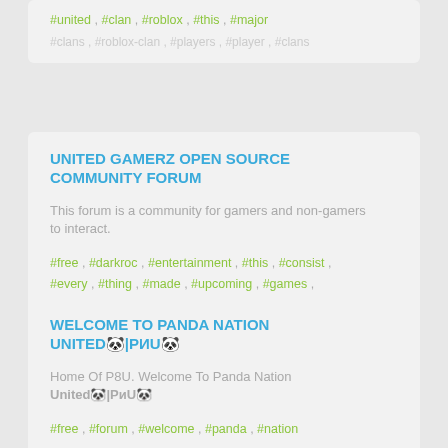#united , #clan , #roblox , #this , #major
UNITED GAMERZ OPEN SOURCE COMMUNITY FORUM
This forum is a community for gamers and non-gamers to interact.
#free , #darkroc , #entertainment , #this , #consist , #every , #thing , #made , #upcoming , #games , #programs , #more , #maker , #game , #makers
WELCOME TO PANDA NATION UNITED🐼|РиU🐼
Home Of P8U. Welcome To Panda Nation United🐼|РиU🐼
#free , #forum , #welcome , #panda , #nation